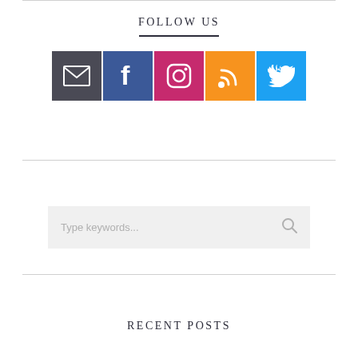FOLLOW US
[Figure (infographic): Five social media icon buttons: Email (dark gray), Facebook (blue), Instagram (pink/red), RSS (orange), Twitter (light blue)]
[Figure (other): Search box with placeholder text 'Type keywords...' and a search icon on the right]
RECENT POSTS